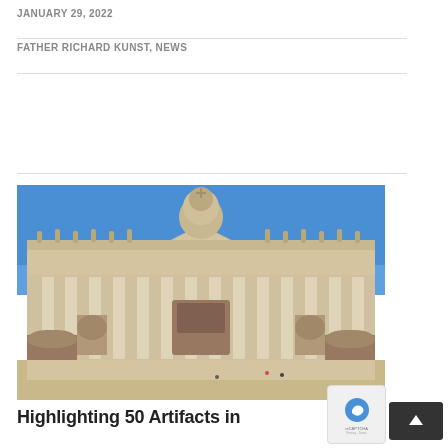JANUARY 29, 2022
FATHER RICHARD KUNST, NEWS
[Figure (photo): Photograph of St. Peter's Basilica facade in Vatican City, taken from the square below, showing the ornate Baroque architecture with columns, statues along the roofline, a pediment in the center, and a dome visible behind the facade against a clear blue sky.]
Highlighting 50 Artifacts in